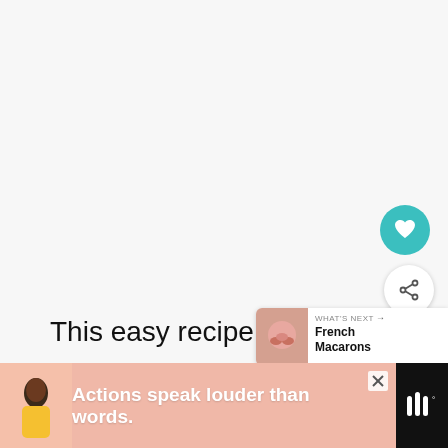This easy recipe for French Onion Soup does not call for any alcohol or cooking wine, I just don't cook with alcohol and found a way to make this delicious without it. This recipe is super easy to prep, the thing that takes time is cooking the onions and allowing the soup to simmer until it is ready to serve.
[Figure (other): Heart/favorite button (teal circle with white heart icon) and share button (white circle with share icon), plus a 'What's Next' card showing French Macarons thumbnail]
[Figure (other): Advertisement banner: figure of a person in yellow shirt on pink background, text 'Actions speak louder than words.' with a close button and logo]